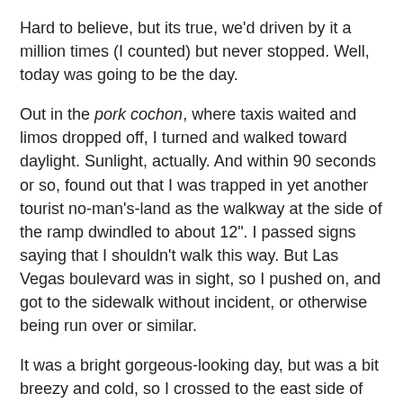Hard to believe, but its true, we'd driven by it a million times (I counted) but never stopped. Well, today was going to be the day.
Out in the pork cochon, where taxis waited and limos dropped off, I turned and walked toward daylight. Sunlight, actually. And within 90 seconds or so, found out that I was trapped in yet another tourist no-man's-land as the walkway at the side of the ramp dwindled to about 12". I passed signs saying that I shouldn't walk this way. But Las Vegas boulevard was in sight, so I pushed on, and got to the sidewalk without incident, or otherwise being run over or similar.
It was a bright gorgeous-looking day, but was a bit breezy and cold, so I crossed to the east side of LVB in order to stay in the sunshine.
I figured the sign couldn't be all that far away, and I could use the exercise after some 12 or 13 days of Vegasing.
I passed a few stores, a McDonald's (noted to self in case